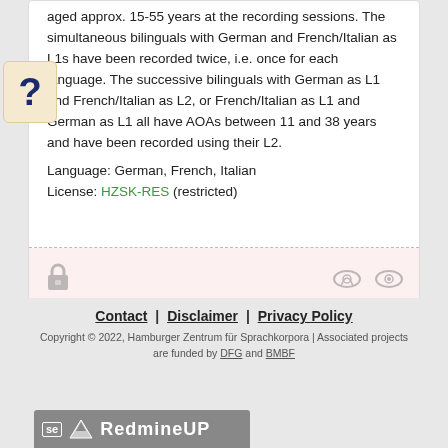aged approx. 15-55 years at the recording sessions. The simultaneous bilinguals with German and French/Italian as L1s have been recorded twice, i.e. once for each language. The successive bilinguals with German as L1 and French/Italian as L2, or French/Italian as L1 and German as L1 all have AOAs between 11 and 38 years and have been recorded using their L2.
Language: German, French, Italian
License: HZSK-RES (restricted)
[Figure (illustration): Lock icon and two small eye/view icons in a pinkish footer bar]
Contact | Disclaimer | Privacy Policy
Copyright © 2022, Hamburger Zentrum für Sprachkorpora | Associated projects are funded by DFG and BMBF
[Figure (logo): RedmineUP logo bar at bottom left, gray background with white text]